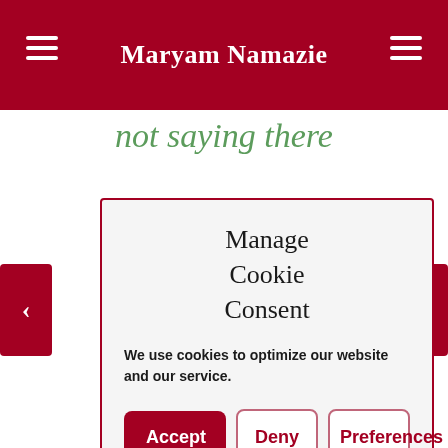Maryam Namazie
not saying there
Manage Cookie Consent
We use cookies to optimize our website and our service.
Accept | Deny | Preferences
throughout this time and had a uniquely bad time throughout